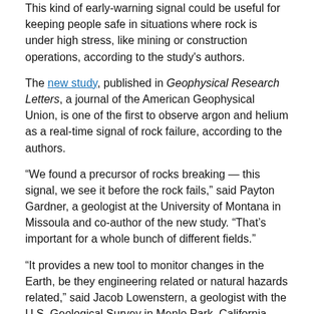This kind of early-warning signal could be useful for keeping people safe in situations where rock is under high stress, like mining or construction operations, according to the study's authors.
The new study, published in Geophysical Research Letters, a journal of the American Geophysical Union, is one of the first to observe argon and helium as a real-time signal of rock failure, according to the authors.
“We found a precursor of rocks breaking — this signal, we see it before the rock fails,” said Payton Gardner, a geologist at the University of Montana in Missoula and co-author of the new study. “That’s important for a whole bunch of different fields.”
“It provides a new tool to monitor changes in the Earth, be they engineering related or natural hazards related,” said Jacob Lowenstern, a geologist with the U.S. Geological Survey in Menlo Park, California, who was not involved in the new study. “[They] documented something that had been inferred in other studies, but never directly measured.”
Breaking things down
[Figure (photo): Laboratory equipment photo showing metallic cylindrical apparatus and instrumentation in a research setting]